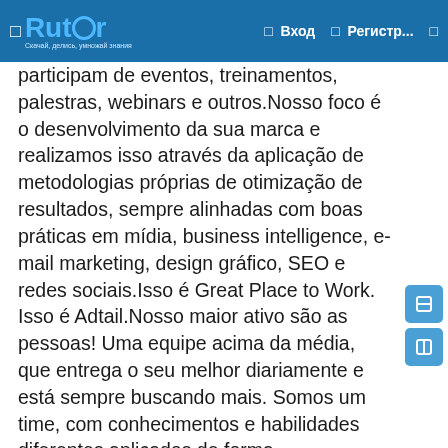Rutor — Вход · Регистр...
participam de eventos, treinamentos, palestras, webinars e outros.Nosso foco é o desenvolvimento da sua marca e realizamos isso através da aplicação de metodologias próprias de otimização de resultados, sempre alinhadas com boas práticas em mídia, business intelligence, e-mail marketing, design gráfico, SEO e redes sociais.Isso é Great Place to Work. Isso é Adtail.Nosso maior ativo são as pessoas! Uma equipe acima da média, que entrega o seu melhor diariamente e está sempre buscando mais. Somos um time, com conhecimentos e habilidades diferentes aplicados de forma complementar para construir resultados de excelência.Alguns de nossos clientes:Desenvolvemos estratégias de performance para marcas como:Ferramentas:Contamos com algumas das principais ferramentas do setor de marketing digital.Artigos:Confira os últimos textos do nosso time de expertsO novo Google Analytics 4 permite uma visão estratégica inovadora e mais completa dos usuários. Com novas tecnologias, mais recursos e a descontinuação do Universal Analytics, a hora de entrar [...]Read MoreO dia das